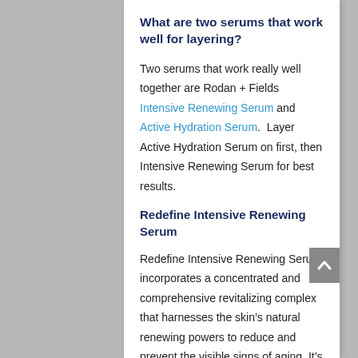What are two serums that work well for layering?
Two serums that work really well together are Rodan + Fields Intensive Renewing Serum and Active Hydration Serum.  Layer Active Hydration Serum on first, then Intensive Renewing Serum for best results.
Redefine Intensive Renewing Serum
Redefine Intensive Renewing Serum incorporates a concentrated and comprehensive revitalizing complex that harnesses the skin’s natural renewing powers to reduce and prevent the visible signs of aging. It’s formulated with Retinal-MD